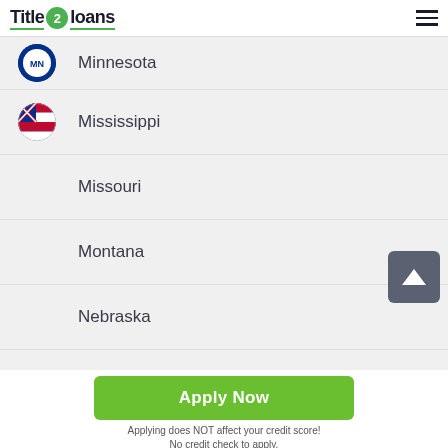Title 2 Loans
Minnesota
Mississippi
Missouri
Montana
Nebraska
Nevada
Apply Now
Applying does NOT affect your credit score! No credit check to apply.